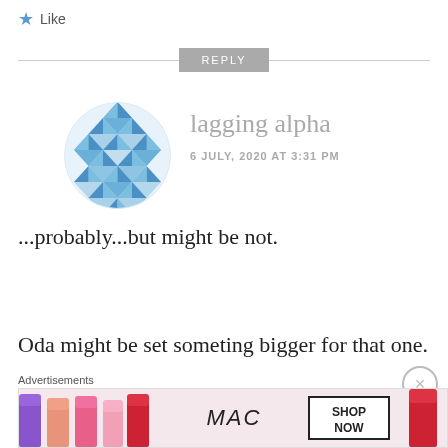Like
REPLY
[Figure (illustration): Circular avatar with blue geometric diamond/triangle pattern on white background, resembling a mosaic or quilt design]
lagging alpha
6 JULY, 2020 AT 3:31 PM
...probably...but might be not.
Oda might be set someting bigger for that one.
Advertisements
[Figure (photo): MAC cosmetics advertisement banner showing colorful lipsticks, MAC logo, and SHOP NOW box]